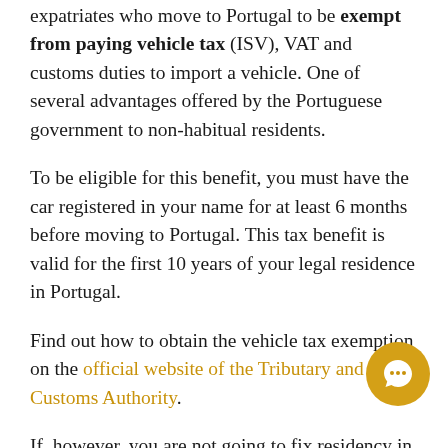expatriates who move to Portugal to be exempt from paying vehicle tax (ISV), VAT and customs duties to import a vehicle. One of several advantages offered by the Portuguese government to non-habitual residents.
To be eligible for this benefit, you must have the car registered in your name for at least 6 months before moving to Portugal. This tax benefit is valid for the first 10 years of your legal residence in Portugal.
Find out how to obtain the vehicle tax exemption on the official website of the Tributary and Customs Authority.
If, however, you are not going to fix residency in Portugal or don't meet all the conditions, you will have to pay import taxes